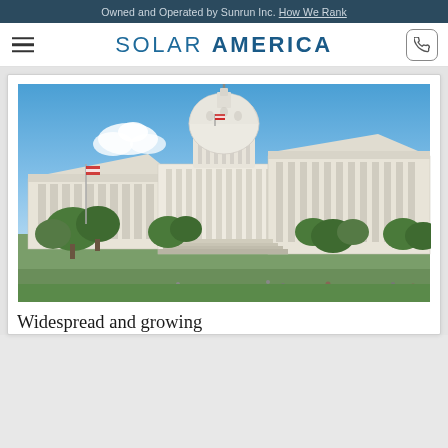Owned and Operated by Sunrun Inc. How We Rank
SOLAR AMERICA
[Figure (photo): Photograph of the United States Capitol building with blue sky background and trees in foreground]
Widespread and growing